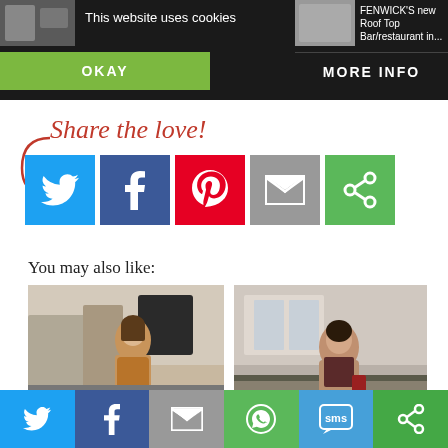This website uses cookies
OKAY
MORE INFO
FENWICK'S new Roof Top Bar/restaurant in...
Share the love!
[Figure (infographic): Social share buttons: Twitter (blue), Facebook (dark blue), Pinterest (red), Email (grey), Share (green), with a red arrow pointing to them]
You may also like:
[Figure (photo): Woman in brown/mustard coat standing on a city street]
The Autumn Coat
[Figure (photo): Woman in camel coat and dark top standing near a railing with buildings behind]
My Franglais look !
[Figure (infographic): Bottom share bar with Twitter, Facebook, Email, WhatsApp, SMS, and Share icons]